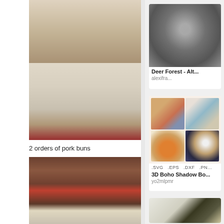[Figure (photo): Photo of 2 orders of pork buns (gua bao) with fillings on a white plate, with a textured knit fabric below and pomegranate seeds visible]
2 orders of pork buns
[Figure (photo): Photo of a glass of drink on a red plate with textured background]
[Figure (photo): Deer Forest Alt... carved/relief art piece held in hand, grayscale texture. Source: alexifra...]
Deer Forest - Alt...
alexifra...
[Figure (illustration): 3D Boho Shadow Box SVG EPS DXF PNG digital art files showing 4 boho-style framed artworks with mountains, rainbow, sun, and moon designs]
3D Boho Shadow Bo...
yo2mlpmr
[Figure (photo): Partial view of a third card at the bottom right showing framed botanical/art prints]